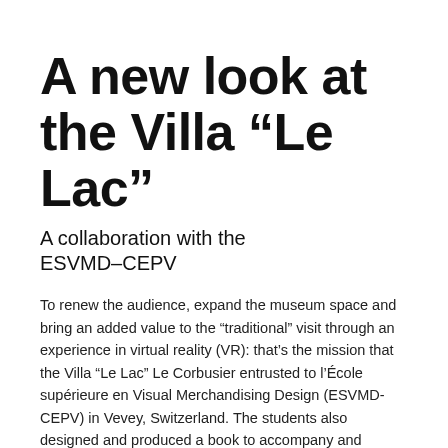A new look at the Villa “Le Lac”
A collaboration with the ESVMD–CEPV
To renew the audience, expand the museum space and bring an added value to the “traditional” visit through an experience in virtual reality (VR): that’s the mission that the Villa “Le Lac” Le Corbusier entrusted to l’École supérieure en Visual Merchandising Design (ESVMD-CEPV) in Vevey, Switzerland. The students also designed and produced a book to accompany and present the experience.